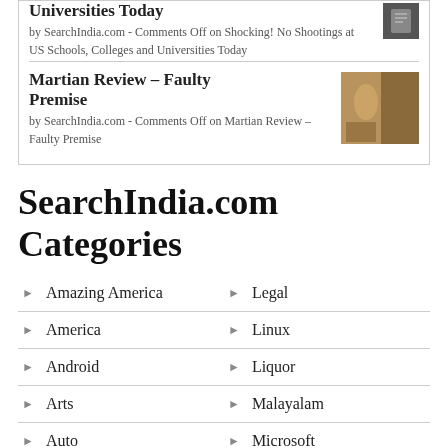Universities Today
by SearchIndia.com - Comments Off on Shocking! No Shootings at US Schools, Colleges and Universities Today
Martian Review – Faulty Premise
by SearchIndia.com - Comments Off on Martian Review – Faulty Premise
SearchIndia.com Categories
Amazing America
Legal
America
Linux
Android
Liquor
Arts
Malayalam
Auto
Microsoft
Bollywood
Music
Books
NYC